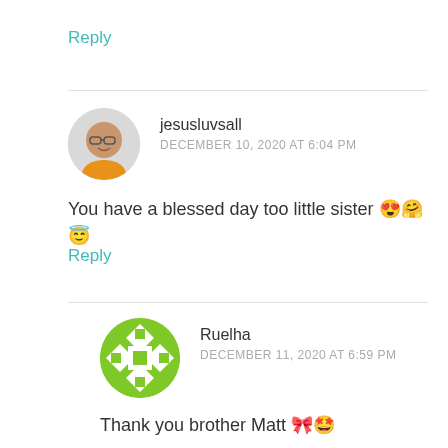Reply
jesusluvsall
DECEMBER 10, 2020 AT 6:04 PM
You have a blessed day too little sister 😍🤗😇
Reply
Ruelha
DECEMBER 11, 2020 AT 6:59 PM
Thank you brother Matt 🎀🤩